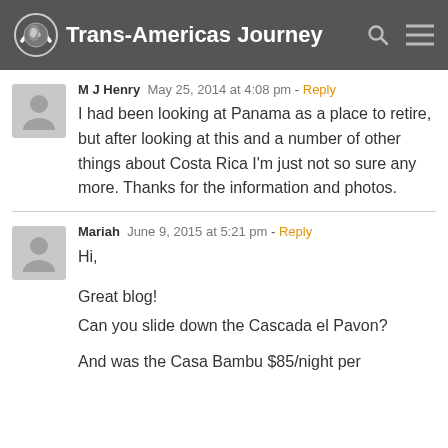Trans-Americas Journey
M J Henry  May 25, 2014 at 4:08 pm - Reply
I had been looking at Panama as a place to retire, but after looking at this and a number of other things about Costa Rica I'm just not so sure any more. Thanks for the information and photos.
Mariah  June 9, 2015 at 5:21 pm - Reply
Hi,

Great blog!
Can you slide down the Cascada el Pavon?

And was the Casa Bambu $85/night per...